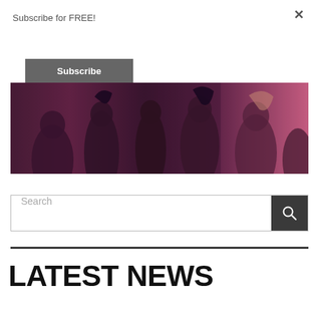Subscribe for FREE!
Subscribe
[Figure (photo): Group of young people dancing in a nightclub with reddish/pink lighting]
Search
LATEST NEWS